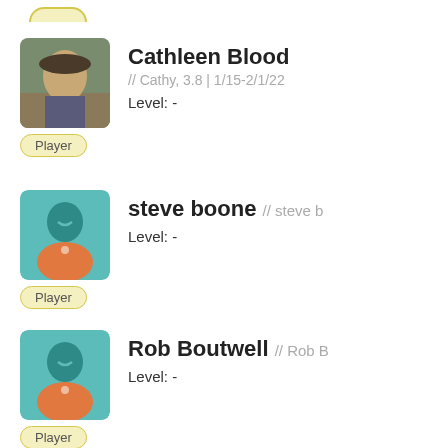[Figure (illustration): Partial yellow rounded badge visible at very top of page]
Cathleen Blood // Cathy, 3.8 | 1/15-2/1/22
Level: -
Player
steve boone // steve b
Level: -
Player
Rob Boutwell // Rob B
Level: -
Player